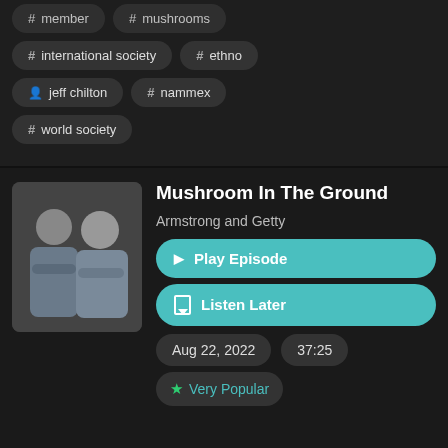# member
# mushrooms
# international society
# ethno
jeff chilton
# nammex
# world society
Mushroom In The Ground
Armstrong and Getty
[Figure (photo): Two men standing side by side with arms crossed against a dark background]
Play Episode
Listen Later
Aug 22, 2022
37:25
Very Popular